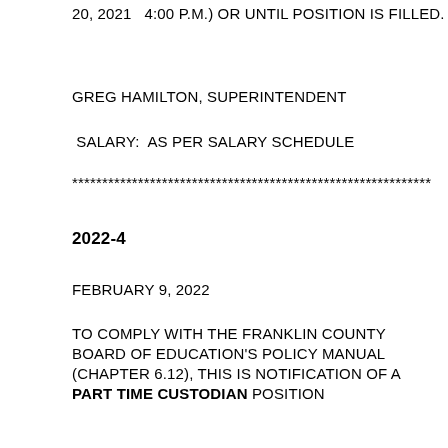20, 2021   4:00 P.M.) OR UNTIL POSITION IS FILLED.
GREG HAMILTON, SUPERINTENDENT
SALARY:  AS PER SALARY SCHEDULE
************************************************************
2022-4
FEBRUARY 9, 2022
TO COMPLY WITH THE FRANKLIN COUNTY BOARD OF EDUCATION'S POLICY MANUAL (CHAPTER 6.12), THIS IS NOTIFICATION OF A PART TIME CUSTODIAN position